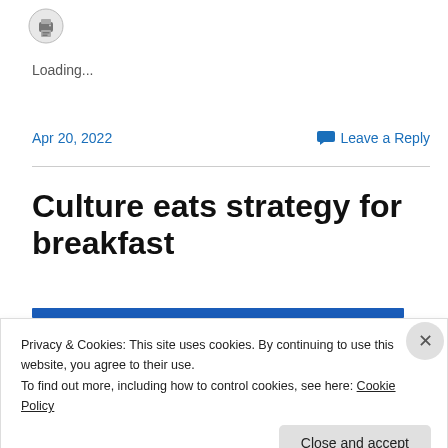[Figure (other): Printer icon in a circle]
Loading...
Apr 20, 2022
Leave a Reply
Culture eats strategy for breakfast
Privacy & Cookies: This site uses cookies. By continuing to use this website, you agree to their use.
To find out more, including how to control cookies, see here: Cookie Policy
Close and accept